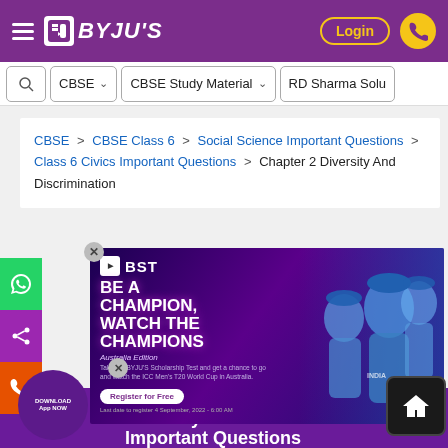BYJU'S — Login
CBSE | CBSE Study Material | RD Sharma Solu
CBSE > CBSE Class 6 > Social Science Important Questions > Class 6 Civics Important Questions > Chapter 2 Diversity And Discrimination
[Figure (screenshot): BST advertisement banner: BE A CHAMPION, WATCH THE CHAMPIONS. Australia Edition. Take the BYJU'S Scholarship Test and get a chance to go and watch the ICC Men's T20 World Cup in Australia. Register for Free. Last date to register 4 September, 2022 - 6:00 AM]
CBSE Class 6 Civics Chapter 2 Diversity and Discrimination Important Questions